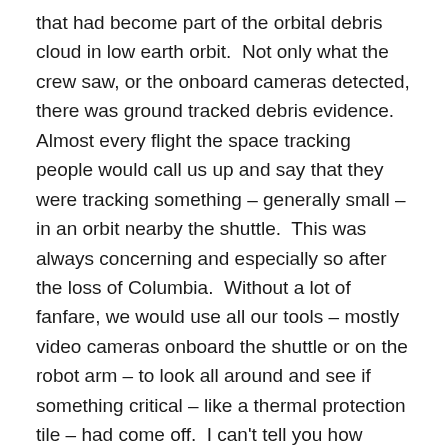that had become part of the orbital debris cloud in low earth orbit.  Not only what the crew saw, or the onboard cameras detected, there was ground tracked debris evidence.  Almost every flight the space tracking people would call us up and say that they were tracking something – generally small – in an orbit nearby the shuttle.  This was always concerning and especially so after the loss of Columbia.  Without a lot of fanfare, we would use all our tools – mostly video cameras onboard the shuttle or on the robot arm – to look all around and see if something critical – like a thermal protection tile – had come off.  I can't tell you how many times we did such an inspection, but my guess is probably 1 of every 3 flights had an incident that resulted in as thorough an inspection as we could make.